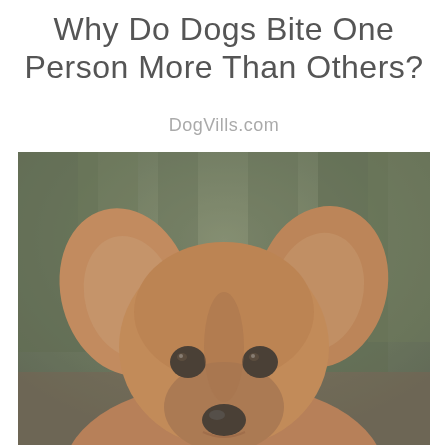Why Do Dogs Bite One Person More Than Others?
DogVills.com
[Figure (photo): Close-up photo of a brown dog with large ears looking directly at the camera, with a blurred green forest background. The image has a muted, slightly faded color tone.]